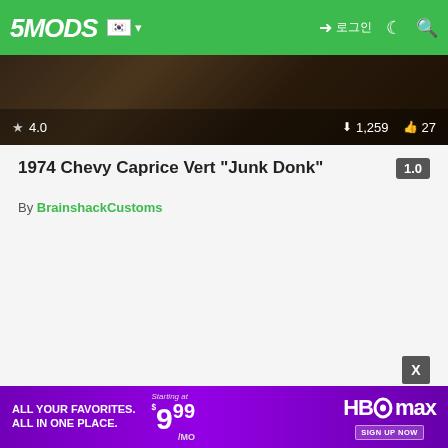5MODS — Navigation bar with logo, Korean flag, login, dark mode and search icons
[Figure (photo): Hero image of 1974 Chevy Caprice interior with star rating 4.0, download count 1,259 and likes 27]
1974 Chevy Caprice Vert "Junk Donk"
1.0
By BrainshackCustoms
[Figure (screenshot): HBO Max advertisement banner: ALL YOUR FAVORITES. ALL IN ONE PLACE. Starting at $9.99/MO — SIGN UP NOW]